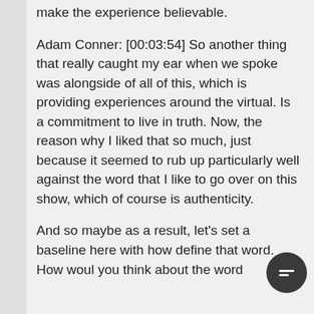make the experience believable.
Adam Conner: [00:03:54] So another thing that really caught my ear when we spoke was alongside of all of this, which is providing experiences around the virtual. Is a commitment to live in truth. Now, the reason why I liked that so much, just because it seemed to rub up particularly well against the word that I like to go over on this show, which of course is authenticity.
And so maybe as a result, let's set a baseline here with how define that word. How would you think about the word